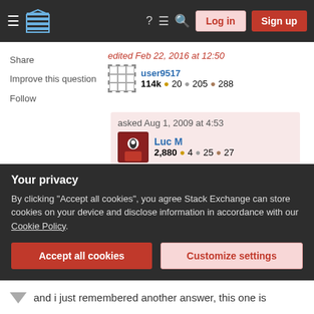Stack Exchange navigation bar with Log in and Sign up buttons
Share
Improve this question
Follow
edited Feb 22, 2016 at 12:50
user9517 114k ● 20 ● 205 ● 288
asked Aug 1, 2009 at 4:53
Luc M 2,880 ● 4 ● 25 ● 27
2 Note that if the goal is to hide passwords in command line arguments, they'll still be visible through ps
– Benitok Apr 27, 2019 at 3:50
Your privacy
By clicking "Accept all cookies", you agree Stack Exchange can store cookies on your device and disclose information in accordance with our Cookie Policy.
Accept all cookies
Customize settings
and i just remembered another answer, this one is